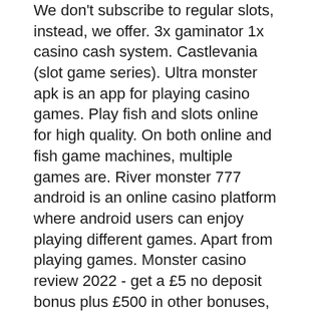We don't subscribe to regular slots, instead, we offer. 3x gaminator 1x casino cash system. Castlevania (slot game series). Ultra monster apk is an app for playing casino games. Play fish and slots online for high quality. On both online and fish game machines, multiple games are. River monster 777 android is an online casino platform where android users can enjoy playing different games. Apart from playing games. Monster casino review 2022 - get a £5 no deposit bonus plus £500 in other bonuses, plus play a massive selection of games. Play at monster casino today. Play anywhere fish game app for the most exciting fish games, reels, keno, and more. Online arcade casino (xgame, v-power, fire kirin, ultra monster). River monster is an app that provides you with the latest casino games with smooth gameplay and attractive visual graphics. The main priority of this brand is. Many fish games: river monster has